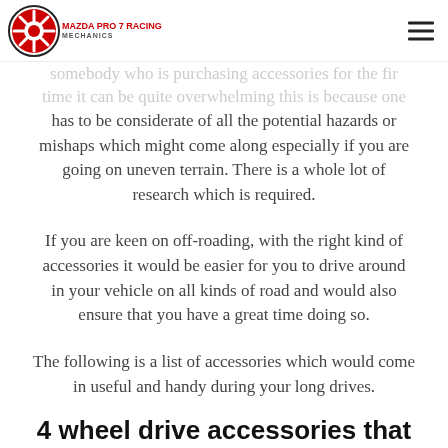MAZDA PRO 7 RACING MECHANICS
…somebody who is purchasing accessories for the first time it can be quite overwhelming this is because one has to be considerate of all the potential hazards or mishaps which might come along especially if you are going on uneven terrain. There is a whole lot of research which is required.
If you are keen on off-roading, with the right kind of accessories it would be easier for you to drive around in your vehicle on all kinds of road and would also ensure that you have a great time doing so.
The following is a list of accessories which would come in useful and handy during your long drives.
4 wheel drive accessories that you should purchase